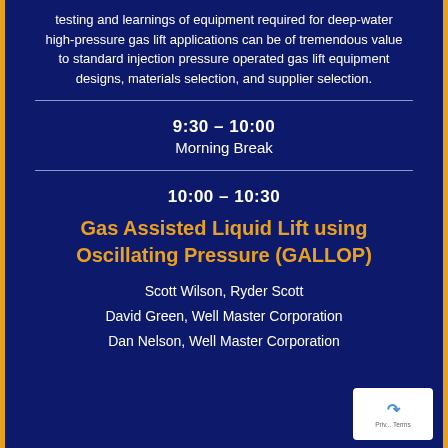testing and learnings of equipment required for deep-water high-pressure gas lift applications can be of tremendous value to standard injection pressure operated gas lift equipment designs, materials selection, and supplier selection.
9:30 – 10:00
Morning Break
10:00 – 10:30
Gas Assisted Liquid Lift using Oscillating Pressure (GALLOP)
Scott Wilson, Ryder Scott
David Green, Well Master Corporation
Dan Nelson, Well Master Corporation